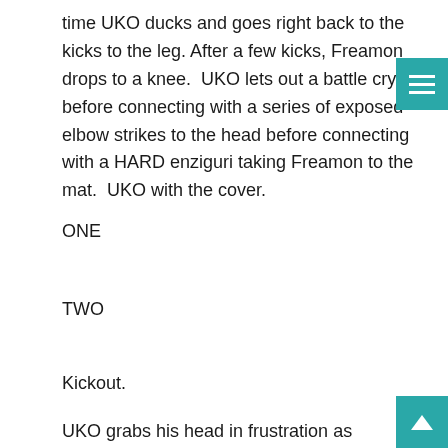time UKO ducks and goes right back to the kicks to the leg. After a few kicks, Freamon drops to a knee.  UKO lets out a battle cry before connecting with a series of exposed elbow strikes to the head before connecting with a HARD enziguri taking Freamon to the mat.  UKO with the cover.
ONE
TWO
Kickout.
UKO grabs his head in frustration as Freamon tries to get to his feet.  UKO sees this and goes right back to elbow strikes trying to keep Freamon grounded.